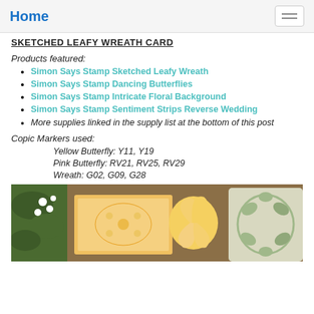Home
SKETCHED LEAFY WREATH CARD
Products featured:
Simon Says Stamp Sketched Leafy Wreath
Simon Says Stamp Dancing Butterflies
Simon Says Stamp Intricate Floral Background
Simon Says Stamp Sentiment Strips Reverse Wedding
More supplies linked in the supply list at the bottom of this post
Copic Markers used:
Yellow Butterfly: Y11, Y19
Pink Butterfly: RV21, RV25, RV29
Wreath: G02, G09, G28
[Figure (photo): Photograph of crafting supplies and cards featuring floral and butterfly designs on a wooden surface]